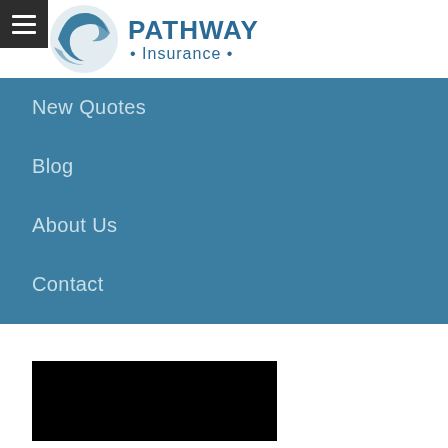[Figure (logo): Pathway Insurance logo with circular bird/wave graphic and text 'Pathway Insurance']
New Quotes
Blog
About Us
Contact
[Figure (photo): Black rectangle image placeholder]